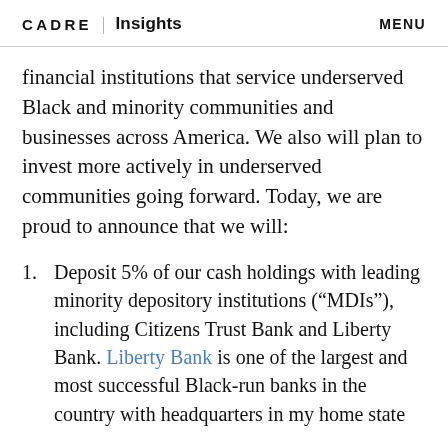CADRE | Insights   MENU
financial institutions that service underserved Black and minority communities and businesses across America. We also will plan to invest more actively in underserved communities going forward. Today, we are proud to announce that we will:
Deposit 5% of our cash holdings with leading minority depository institutions (“MDIs”), including Citizens Trust Bank and Liberty Bank. Liberty Bank is one of the largest and most successful Black-run banks in the country with headquarters in my home state